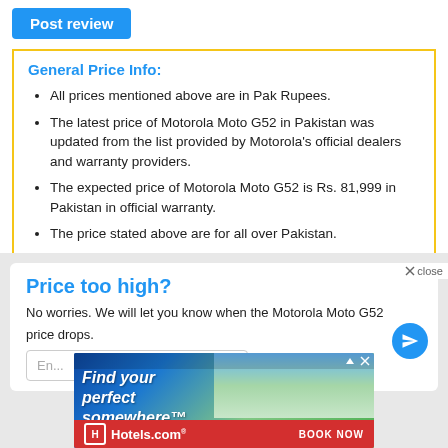[Figure (screenshot): Blue 'Post review' button]
General Price Info:
All prices mentioned above are in Pak Rupees.
The latest price of Motorola Moto G52 in Pakistan was updated from the list provided by Motorola's official dealers and warranty providers.
The expected price of Motorola Moto G52 is Rs. 81,999 in Pakistan in official warranty.
The price stated above are for all over Pakistan.
Price too high?
No worries. We will let you know when the Motorola Moto G52 price drops.
[Figure (screenshot): Hotels.com advertisement banner with 'Find your perfect somewhere' text and BOOK NOW button]